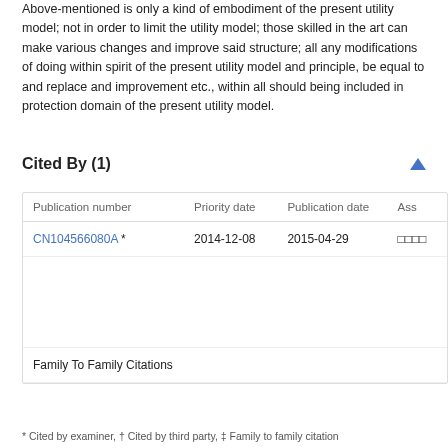Above-mentioned is only a kind of embodiment of the present utility model; not in order to limit the utility model; those skilled in the art can make various changes and improve said structure; all any modifications of doing within spirit of the present utility model and principle, be equal to and replace and improvement etc., within all should being included in protection domain of the present utility model.
Cited By (1)
| Publication number | Priority date | Publication date | Ass |
| --- | --- | --- | --- |
| CN104566080A * | 2014-12-08 | 2015-04-29 | □□□□ |
| Family To Family Citations |  |  |  |
* Cited by examiner, † Cited by third party, ‡ Family to family citation